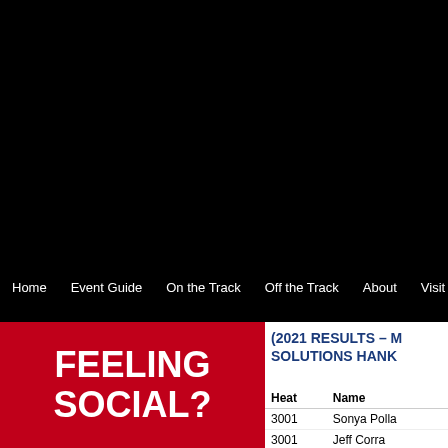Home   Event Guide   On the Track   Off the Track   About   Visit Gran
[Figure (illustration): Red banner with white bold text reading FEELING SOCIAL?]
(2021 RESULTS – M SOLUTIONS HANK
| Heat | Name |
| --- | --- |
| 3001 | Sonya Polla |
| 3001 | Jeff Gorra |